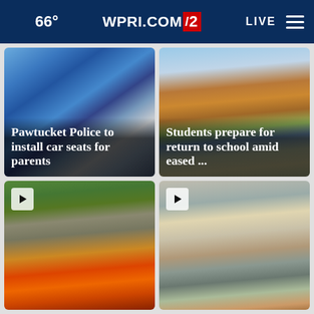66° WPRI.COM 12 LIVE
[Figure (photo): Blue child car seat inside a vehicle]
Pawtucket Police to install car seats for parents
[Figure (photo): Students walking outside a school building]
Students prepare for return to school amid eased ...
[Figure (photo): Fire and smoke from a structure, with trees and utility lines visible]
[Figure (photo): Student with backpack viewed from behind, other students in background near a school building]